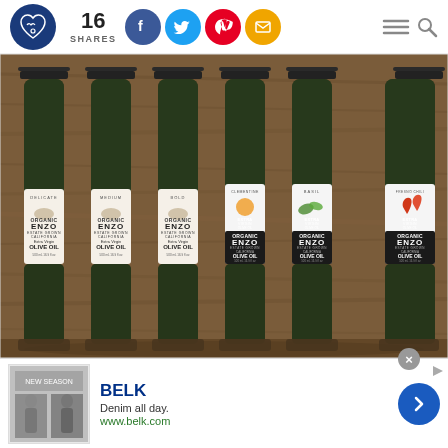16 SHARES
[Figure (photo): Six bottles of Enzo Organic Estate Grown California Olive Oil arranged on a wooden surface. Varieties shown: Delicate Extra Virgin, Medium Extra Virgin, Bold Extra Virgin, Clementine, Basil, and Fresno Chili. Each bottle has a dark glass design with distinctive label art.]
[Figure (screenshot): Advertisement banner for BELK: 'Denim all day. www.belk.com' with a blue arrow button and clothing images.]